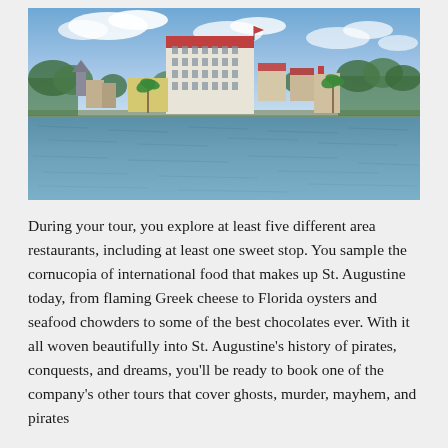[Figure (photo): Waterfront view of St. Augustine, Florida. A large historic multi-story building with a red roof dominates the center skyline, flanked by smaller colorful historic buildings and palm trees along a waterfront. The foreground shows calm water reflecting the scene under a partly cloudy blue sky.]
During your tour, you explore at least five different area restaurants, including at least one sweet stop. You sample the cornucopia of international food that makes up St. Augustine today, from flaming Greek cheese to Florida oysters and seafood chowders to some of the best chocolates ever. With it all woven beautifully into St. Augustine's history of pirates, conquests, and dreams, you'll be ready to book one of the company's other tours that cover ghosts, murder, mayhem, and pirates